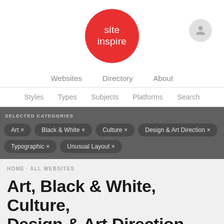[Figure (logo): SiteInspire logo: red circle with white text 'site inspire']
Websites   Directory   About
Styles   Types   Subjects   Platforms   Search
SELECTED CATEGORIES
Art ×
Black & White ×
Culture ×
Design & Art Direction ×
Typographic ×
Unusual Layout ×
HOME · ALL WEBSITES
Art, Black & White, Culture, Design & Art Direction, Typographic, and Unusual Layout websites